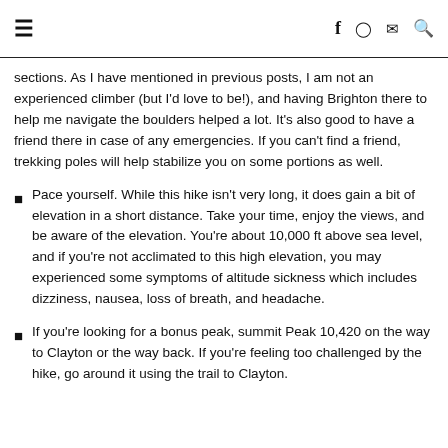≡  f  Instagram  Email  Search
sections. As I have mentioned in previous posts, I am not an experienced climber (but I'd love to be!), and having Brighton there to help me navigate the boulders helped a lot. It's also good to have a friend there in case of any emergencies. If you can't find a friend, trekking poles will help stabilize you on some portions as well.
Pace yourself. While this hike isn't very long, it does gain a bit of elevation in a short distance. Take your time, enjoy the views, and be aware of the elevation. You're about 10,000 ft above sea level, and if you're not acclimated to this high elevation, you may experienced some symptoms of altitude sickness which includes dizziness, nausea, loss of breath, and headache.
If you're looking for a bonus peak, summit Peak 10,420 on the way to Clayton or the way back. If you're feeling too challenged by the hike, go around it using the trail to Clayton.